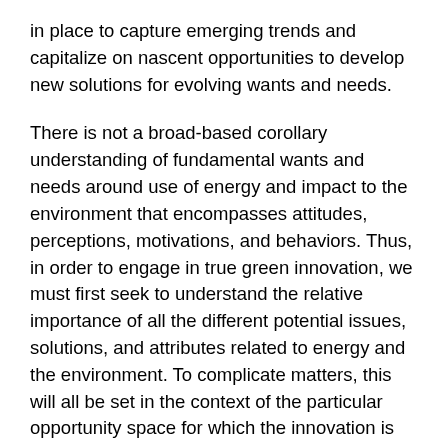in place to capture emerging trends and capitalize on nascent opportunities to develop new solutions for evolving wants and needs.
There is not a broad-based corollary understanding of fundamental wants and needs around use of energy and impact to the environment that encompasses attitudes, perceptions, motivations, and behaviors. Thus, in order to engage in true green innovation, we must first seek to understand the relative importance of all the different potential issues, solutions, and attributes related to energy and the environment. To complicate matters, this will all be set in the context of the particular opportunity space for which the innovation is targeted.
Once those insights are available, then creative problem-solving can identify solutions for those green wants and needs. In other words, the next level of innovation is rooted in green, not the core product or service opportunity space. To be truly innovative, to find the break-through green revenue or growth opportunities, will require